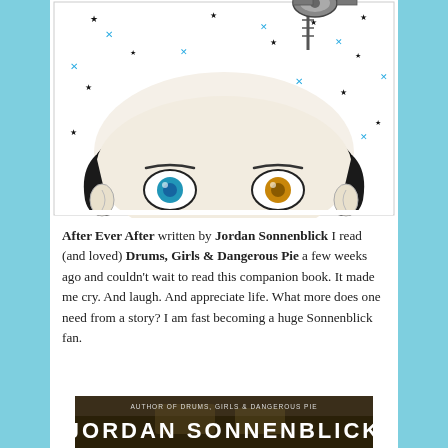[Figure (illustration): Book cover of 'After Ever After' by Jordan Sonnenblick showing a stylized boy's face looking up, with one blue eye and one gold/brown eye, black hair, and a night sky full of black and blue stars above his head with a small rocket/satellite on a pole]
After Ever After written by Jordan Sonnenblick I read (and loved) Drums, Girls & Dangerous Pie a few weeks ago and couldn't wait to read this companion book. It made me cry. And laugh. And appreciate life. What more does one need from a story? I am fast becoming a huge Sonnenblick fan.
[Figure (illustration): Bottom portion of book cover showing 'Author of Drums, Girls & Dangerous Pie' and 'JORDAN SONNENBLICK' text on a dark/moody background]